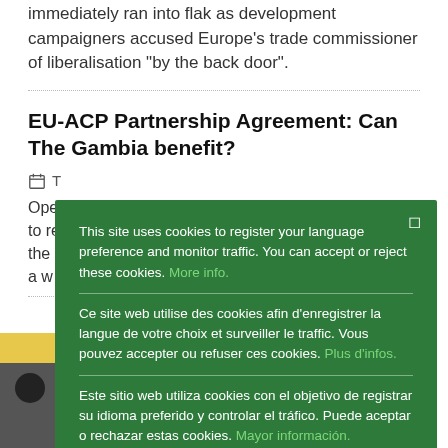immediately ran into flak as development campaigners accused Europe's trade commissioner of liberalisation "by the back door".
EU-ACP Partnership Agreement: Can The Gambia benefit?
Ope... to re... the ... a w...
[Figure (photo): Partially visible image at bottom left of page, partially obscured by cookie consent popup]
This site uses cookies to register your language preference and monitor traffic. You can accept or reject these cookies. More info.

Ce site web utilise des cookies afin d'enregistrer la langue de votre choix et surveiller le traffic. Vous pouvez accepter ou refuser ces cookies. Plus d'infos.

Este sitio web utiliza cookies con el objetivo de registrar su idioma preferido y controlar el tráfico. Puede aceptar o rechazar estas cookies. Mayor información.

Ok